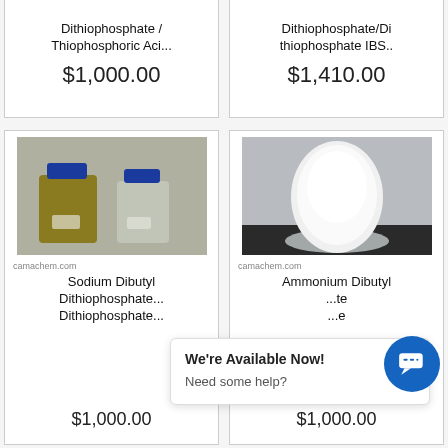Dithiophosphate / Thiophosphoric Aci...
$1,000.00
Dithiophosphate/Dithiophosphate IBS..
$1,410.00
[Figure (photo): Two glass bottles with blue caps — one amber/green, one clear — containing chemical solutions]
camachem.com
Sodium Dibutyl Dithiophosphate... Dithiophosphate...
$1,000.00
[Figure (photo): White powder mound in a glass bowl/dish on a dark surface]
camachem.com
Ammonium Dibutyl ...te ...e
$1,000.00
We're Available Now!
Need some help?